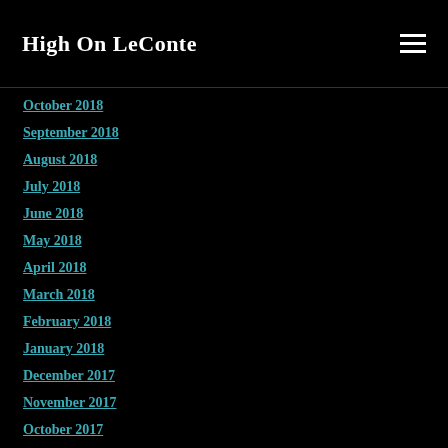High On LeConte
October 2018
September 2018
August 2018
July 2018
June 2018
May 2018
April 2018
March 2018
February 2018
January 2018
December 2017
November 2017
October 2017
September 2017
August 2017
July 2017
June 2017